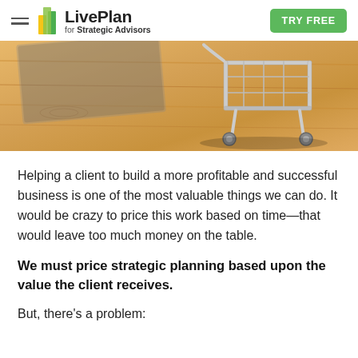LivePlan for Strategic Advisors | TRY FREE
[Figure (photo): Close-up photo of a small shopping cart on a wooden table surface, shot from a low angle]
Helping a client to build a more profitable and successful business is one of the most valuable things we can do. It would be crazy to price this work based on time—that would leave too much money on the table.
We must price strategic planning based upon the value the client receives.
But, there's a problem: